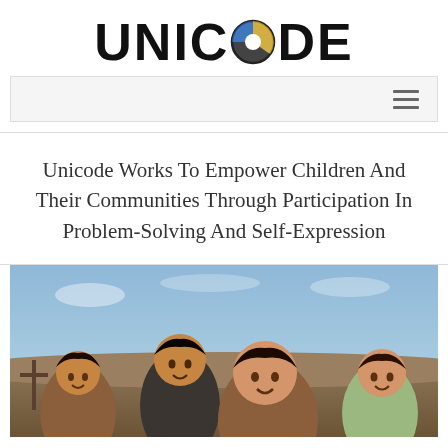UNICODE
[Figure (screenshot): Navigation bar with hamburger menu icon on the right]
Unicode Works To Empower Children And Their Communities Through Participation In Problem-Solving And Self-Expression
[Figure (photo): Group of four smiling children outdoors in a desert/rural landscape under a blue sky]